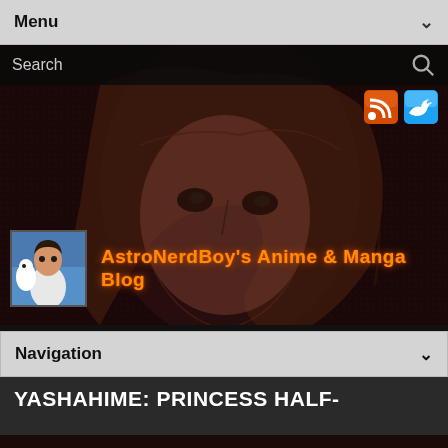Menu
[Figure (screenshot): Dark anime/manga themed website header background with illustrated female character face, search bar, RSS and Twitter icon buttons]
[Figure (logo): AstroNerdBoy's Anime & Manga Blog logo with thumbnail anime character image and orange glowing text]
Navigation
YASHAHIME: PRINCESS HALF-